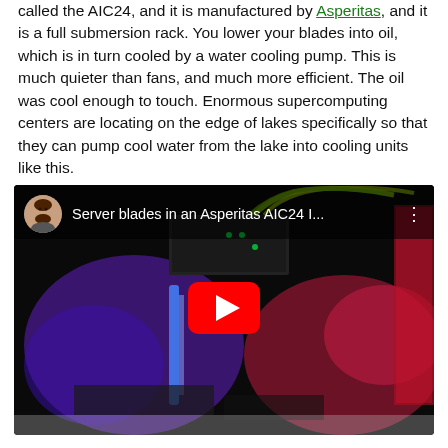called the AIC24, and it is manufactured by Asperitas, and it is a full submersion rack. You lower your blades into oil, which is in turn cooled by a water cooling pump. This is much quieter than fans, and much more efficient. The oil was cool enough to touch. Enormous supercomputing centers are locating on the edge of lakes specifically so that they can pump cool water from the lake into cooling units like this.
[Figure (screenshot): YouTube video embed thumbnail showing server blades submerged in an Asperitas AIC24 liquid immersion cooling system with purple and red LED lighting, a play button in the center, and a video title 'Server blades in an Asperitas AIC24 I...' with a user avatar in the top left.]